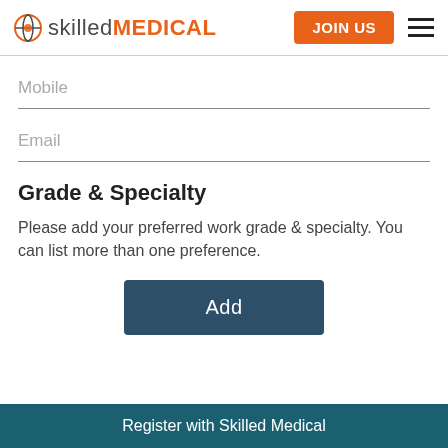skilled MEDICAL | JOIN US
Mobile
Email
Grade & Specialty
Please add your preferred work grade & specialty. You can list more than one preference.
Add
Register with Skilled Medical